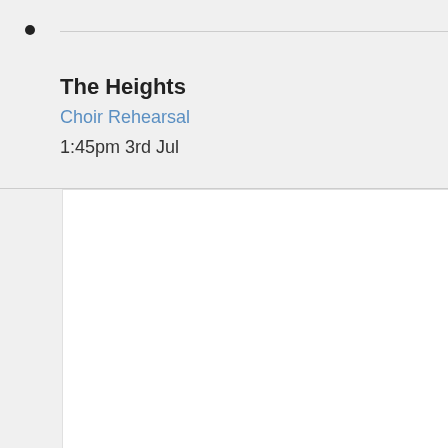•
The Heights
Choir Rehearsal
1:45pm 3rd Jul